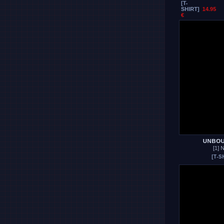[T-SHIRT]  14.95 €  [T-SHIRT]  14...
[Figure (photo): Black product image for UNBOUNDED TERROR - Nest of Affliction T-Shirt [1]]
UNBOUNDED TERROR
[1] Nest of Affliction
[T-SHIRT]  14.95 €
[Figure (photo): Black product image for UNBOUNDED TERROR - Nest of Affliction T-Shirt [2]]
UNBOUNDED T...
[2] Nest of Af...
[T-SHIRT]  14...
[Figure (photo): Black product image for UNBOUNDED TERROR - Logo Patch]
UNBOUNDED TERROR
Logo
[PATCH]  4.95 €
[Figure (photo): Black product image for UNBOUNDED TERROR - Faith in Ch... Patch]
UNBOUNDED T...
Faith in Ch...
[PATCH]  4...
[Figure (photo): Black product image - bottom left partial]
[Figure (photo): Black product image - bottom right partial]